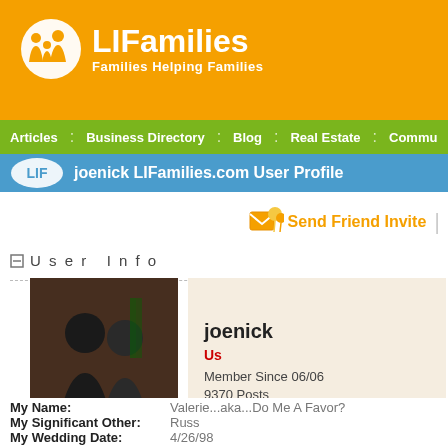[Figure (logo): LIFamilies logo with orange background, white circle with family silhouette icon, bold white text 'LIFamilies' and subtitle 'Families Helping Families']
Articles : Business Directory : Blog : Real Estate : Commu...
joenick LIFamilies.com User Profile
Send Friend Invite
User Info
[Figure (photo): Profile photo of a man and woman couple at what appears to be a holiday or formal event]
joenick
Us
Member Since 06/06
9370 Posts
My Name: Valerie...aka...Do Me A Favor?
My Significant Other: Russ
My Wedding Date: 4/26/98
My Family: Nicholas, Joseph